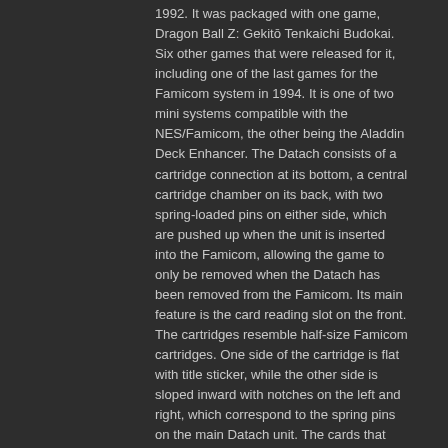1992. It was packaged with one game, Dragon Ball Z: Gekitō Tenkaichi Budokai. Six other games that were released for it, including one of the last games for the Famicom system in 1994. It is one of two mini systems compatible with the NES/Famicom, the other being the Aladdin Deck Enhancer. The Datach consists of a cartridge connection at its bottom, a central cartridge chamber on its back, with two spring-loaded pins on either side, which are pushed up when the unit is inserted into the Famicom, allowing the game to only be removed when the Datach has been removed from the Famicom. Its main feature is the card reading slot on the front. The cartridges resemble half-size Famicom cartridges. One side of the cartridge is flat with title sticker, while the other side is sloped inward with notches on the left and right, which correspond to the spring pins on the main Datach unit. The cards that come with the games are swiped from left to right along the card slot: they are glossy on the front with an image of the character and the backs are smooth usually having the title of the game and barcode. All cartridges, boxes, instructions have the standard FF (Famicom Family) insignia, showing they are officially licensed by Nintendo.